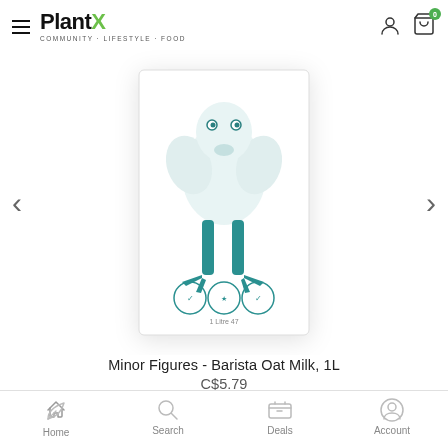PlantX — COMMUNITY · LIFESTYLE · FOOD
[Figure (photo): Product image of Minor Figures Barista Oat Milk 1L carton showing a cartoon bird character with teal legs on a white background, with three circular certification badges at the bottom]
Minor Figures - Barista Oat Milk, 1L
C$5.79
Add to Cart
Home  Search  Deals  Account